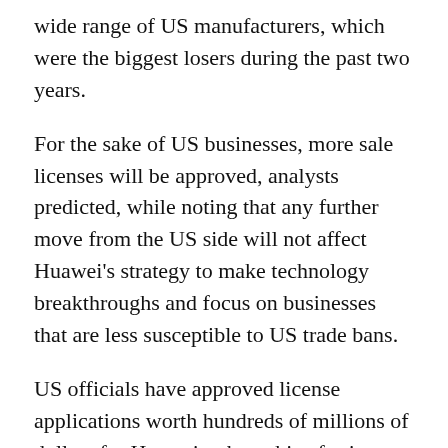wide range of US manufacturers, which were the biggest losers during the past two years.
For the sake of US businesses, more sale licenses will be approved, analysts predicted, while noting that any further move from the US side will not affect Huawei's strategy to make technology breakthroughs and focus on businesses that are less susceptible to US trade bans.
US officials have approved license applications worth hundreds of millions of dollars for Huawei to buy chips for its growing auto component business. Licenses are authorized for suppliers for such vehicle components as video screens and sensors, Reuters reported on Wednesday, citing two people familiar